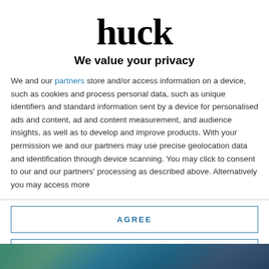[Figure (logo): Huck magazine logo in bold serif/display font, black text]
We value your privacy
We and our partners store and/or access information on a device, such as cookies and process personal data, such as unique identifiers and standard information sent by a device for personalised ads and content, ad and content measurement, and audience insights, as well as to develop and improve products. With your permission we and our partners may use precise geolocation data and identification through device scanning. You may click to consent to our and our partners' processing as described above. Alternatively you may access more
AGREE
MORE OPTIONS
[Figure (photo): Bottom portion showing a colorful photo partially visible]